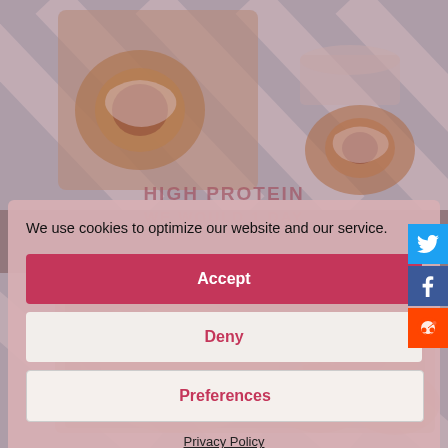[Figure (photo): Food photo showing cinnamon rolls with icing on a striped blue background, top portion of page]
We use cookies to optimize our website and our service.
Accept
Deny
Preferences
Privacy Policy
[Figure (photo): Food photo showing baked rolls or pastries on a baking tray, bottom portion of page]